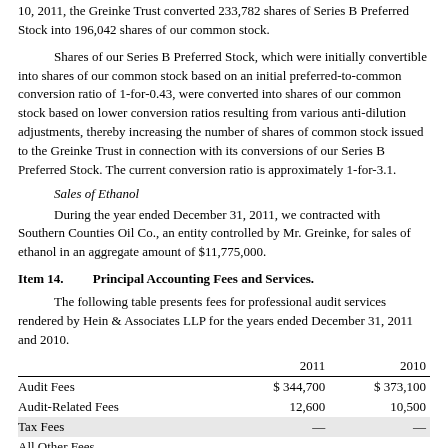10, 2011, the Greinke Trust converted 233,782 shares of Series B Preferred Stock into 196,042 shares of our common stock.
Shares of our Series B Preferred Stock, which were initially convertible into shares of our common stock based on an initial preferred-to-common conversion ratio of 1-for-0.43, were converted into shares of our common stock based on lower conversion ratios resulting from various anti-dilution adjustments, thereby increasing the number of shares of common stock issued to the Greinke Trust in connection with its conversions of our Series B Preferred Stock. The current conversion ratio is approximately 1-for-3.1.
Sales of Ethanol
During the year ended December 31, 2011, we contracted with Southern Counties Oil Co., an entity controlled by Mr. Greinke, for sales of ethanol in an aggregate amount of $11,775,000.
Item 14.    Principal Accounting Fees and Services.
The following table presents fees for professional audit services rendered by Hein & Associates LLP for the years ended December 31, 2011 and 2010.
|  | 2011 | 2010 |
| --- | --- | --- |
| Audit Fees | $ 344,700 | $ 373,100 |
| Audit-Related Fees | 12,600 | 10,500 |
| Tax Fees | — | — |
| All Other Fees | — | — |